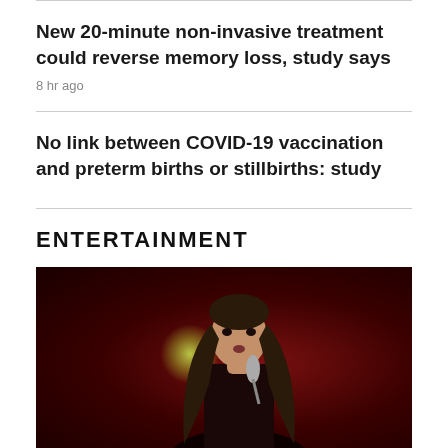New 20-minute non-invasive treatment could reverse memory loss, study says
8 hr ago
No link between COVID-19 vaccination and preterm births or stillbirths: study
ENTERTAINMENT
[Figure (photo): Concert performer with long dark hair holding a microphone against a dark red stage background with a green spotlight in the background]